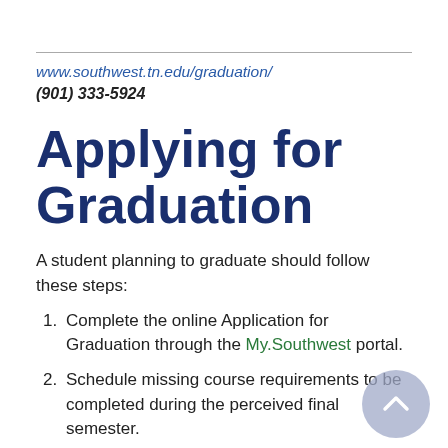www.southwest.tn.edu/graduation/
(901) 333-5924
Applying for Graduation
A student planning to graduate should follow these steps:
Complete the online Application for Graduation through the My.Southwest portal.
Schedule missing course requirements to be completed during the perceived final semester.
Schedule and complete any required graduate exit